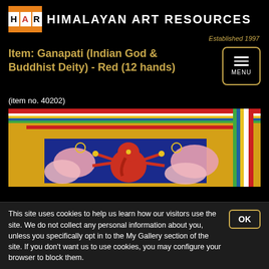HAR Himalayan Art Resources Established 1997
Item: Ganapati (Indian God & Buddhist Deity) - Red (12 hands)
(item no. 40202)
[Figure (photo): Partial view of a Himalayan thangka painting showing colorful borders in red, yellow, green, and blue with intricate painted imagery of Ganapati, a red deity with multiple hands]
This site uses cookies to help us learn how our visitors use the site. We do not collect any personal information about you, unless you specifically opt in to the My Gallery section of the site. If you don't want us to use cookies, you may configure your browser to block them.